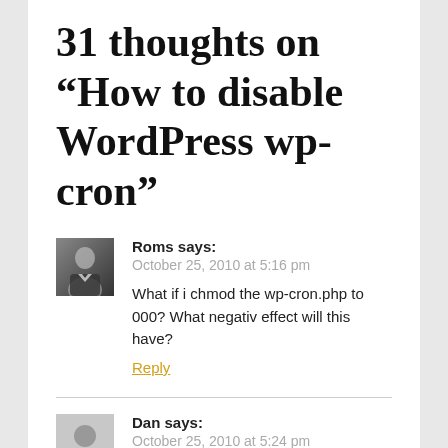31 thoughts on “How to disable WordPress wp-cron”
Roms says:
October 25, 2010 at 5:16 pm

What if i chmod the wp-cron.php to 000? What negativ effect will this have?
Reply
Dan says:
October 25, 2010 at 5:24 pm